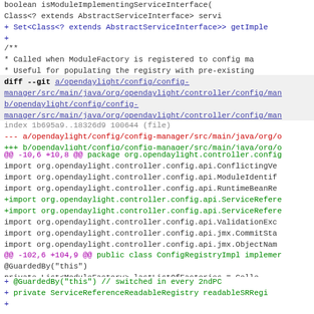boolean isModuleImplementingServiceInterface(
    Class<? extends AbstractServiceInterface> servi
+    Set<Class<? extends AbstractServiceInterface>> getImple
+
/**
 * Called when ModuleFactory is registered to config ma
 * Useful for populating the registry with pre-existing
diff --git a/opendaylight/config/config-manager/src/main/java/org/opendaylight/controller/config/man
b/opendaylight/config/config-manager/src/main/java/org/opendaylight/controller/config/man
index 1b695a9..18326d9 100644 (file)
--- a/opendaylight/config/config-manager/src/main/java/org/o
+++ b/opendaylight/config/config-manager/src/main/java/org/o
@@ -10,6 +10,8 @@ package org.opendaylight.controller.config
 import org.opendaylight.controller.config.api.ConflictingVe
 import org.opendaylight.controller.config.api.ModuleIdentif
 import org.opendaylight.controller.config.api.RuntimeBeanRe
+import org.opendaylight.controller.config.api.ServiceRefere
+import org.opendaylight.controller.config.api.ServiceRefere
 import org.opendaylight.controller.config.api.ValidationExc
 import org.opendaylight.controller.config.api.jmx.CommitSta
 import org.opendaylight.controller.config.api.jmx.ObjectNam
@@ -102,6 +104,9 @@ public class ConfigRegistryImpl implemer
     @GuardedBy("this")
     private List<ModuleFactory> lastListOfFactories = Colle
+    @GuardedBy("this") // switched in every 2ndPC
+    private ServiceReferenceReadableRegistry readableSRRegi
+